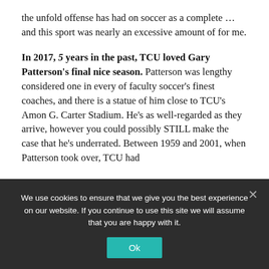the unfold offense has had on soccer as a complete … and this sport was nearly an excessive amount of for me.
In 2017, 5 years in the past, TCU loved Gary Patterson's final nice season. Patterson was lengthy considered one in every of faculty soccer's finest coaches, and there is a statue of him close to TCU's Amon G. Carter Stadium. He's as well-regarded as they arrive, however you could possibly STILL make the case that he's underrated. Between 1959 and 2001, when Patterson took over, TCU had
We use cookies to ensure that we give you the best experience on our website. If you continue to use this site we will assume that you are happy with it.